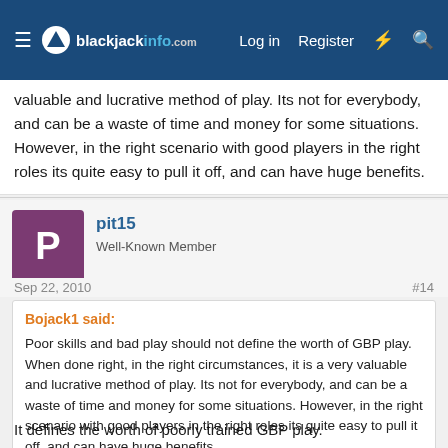blackjackinfo.com — Log in | Register
valuable and lucrative method of play. Its not for everybody, and can be a waste of time and money for some situations. However, in the right scenario with good players in the right roles its quite easy to pull it off, and can have huge benefits.
pit15
Well-Known Member
Sep 22, 2010   #14
Bojack1 said:
Poor skills and bad play should not define the worth of GBP play. When done right, in the right circumstances, it is a very valuable and lucrative method of play. Its not for everybody, and can be a waste of time and money for some situations. However, in the right scenario with good players in the right roles its quite easy to pull it off, and can have huge benefits.
It defines the worth of poorly trained GBP play.